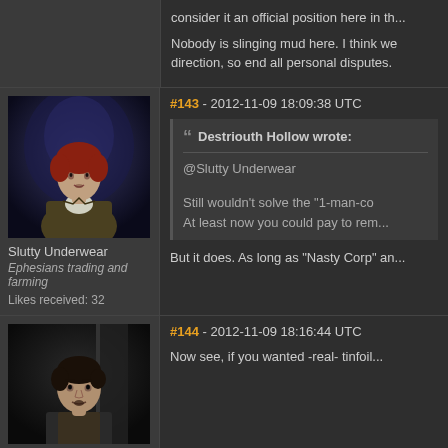consider it an official position here in th...
Nobody is slinging mud here. I think we... direction, so end all personal disputes.
#143 - 2012-11-09 18:09:38 UTC
[Figure (illustration): Forum avatar: female character with red hair wearing a brown jacket against a dark background]
Slutty Underwear
Ephesians trading and farming
Likes received: 32
Destriouth Hollow wrote: @Slutty Underwear Still wouldn't solve the "1-man-co... At least now you could pay to rem...
But it does. As long as "Nasty Corp" an...
#144 - 2012-11-09 18:16:44 UTC
[Figure (illustration): Forum avatar: male character with dark hair against a dark background]
Now see, if you wanted -real- tinfoil...